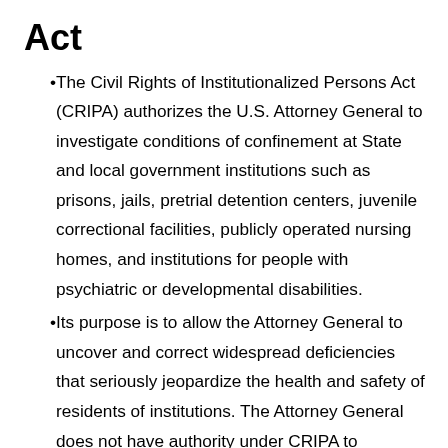Act
The Civil Rights of Institutionalized Persons Act (CRIPA) authorizes the U.S. Attorney General to investigate conditions of confinement at State and local government institutions such as prisons, jails, pretrial detention centers, juvenile correctional facilities, publicly operated nursing homes, and institutions for people with psychiatric or developmental disabilities.
Its purpose is to allow the Attorney General to uncover and correct widespread deficiencies that seriously jeopardize the health and safety of residents of institutions. The Attorney General does not have authority under CRIPA to investigate isolated incidents or to represent